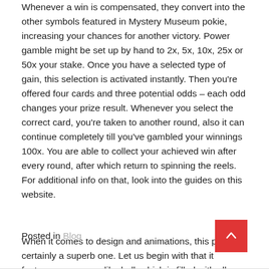Whenever a win is compensated, they convert into the other symbols featured in Mystery Museum pokie, increasing your chances for another victory. Power gamble might be set up by hand to 2x, 5x, 10x, 25x or 50x your stake. Once you have a selected type of gain, this selection is activated instantly. Then you're offered four cards and three potential odds – each odd changes your prize result. Whenever you select the correct card, you're taken to another round, also it can continue completely till you've gambled your winnings 100x. You are able to collect your achieved win after every round, after which return to spinning the reels. For additional info on that, look into the guides on this website.
When it comes to design and animations, this pokie is certainly a superb one. Let us begin with that it features a museum-like hall, which is filled with all sorts of exhibits and artifacts, for example, statues, totems, and impressive sculptures. I am certain the dim lighting will almost allow you to seem like you are an element of the game yourself.
Posted in Blog